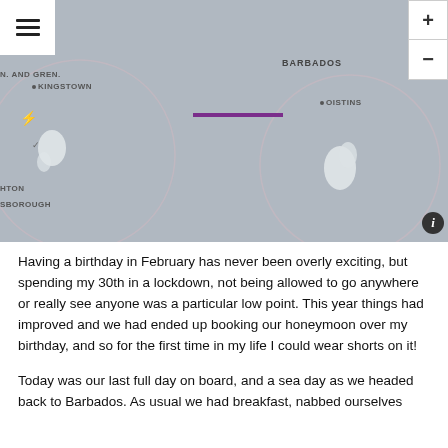[Figure (map): A grey interactive map showing the Caribbean islands area including Barbados with place names: N. AND GREN., KINGSTOWN, BARBADOS, OISTINS, HTON, SBOROUGH. A purple line segment is visible in the centre. Map controls include a hamburger menu top-left and +/- zoom buttons top-right, with an info button bottom-right.]
Having a birthday in February has never been overly exciting, but spending my 30th in a lockdown, not being allowed to go anywhere or really see anyone was a particular low point. This year things had improved and we had ended up booking our honeymoon over my birthday, and so for the first time in my life I could wear shorts on it!
Today was our last full day on board, and a sea day as we headed back to Barbados. As usual we had breakfast, nabbed ourselves